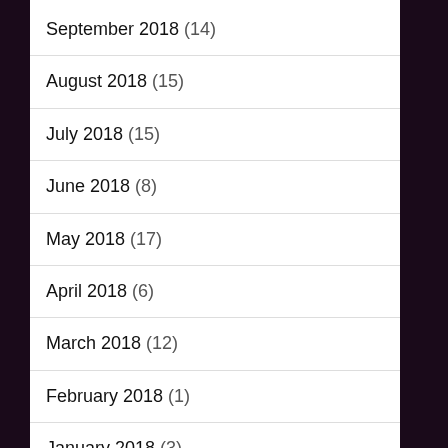September 2018 (14)
August 2018 (15)
July 2018 (15)
June 2018 (8)
May 2018 (17)
April 2018 (6)
March 2018 (12)
February 2018 (1)
January 2018 (3)
December 2017 (3)